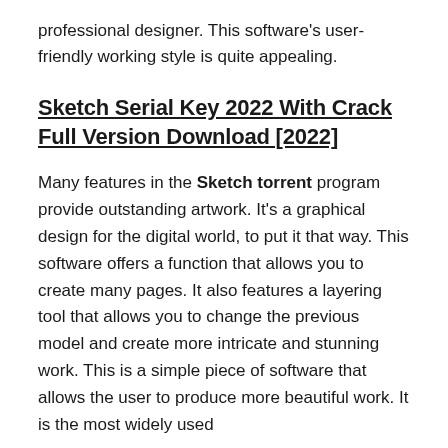professional designer. This software's user-friendly working style is quite appealing.
Sketch Serial Key 2022 With Crack Full Version Download [2022]
Many features in the Sketch torrent program provide outstanding artwork. It's a graphical design for the digital world, to put it that way. This software offers a function that allows you to create many pages. It also features a layering tool that allows you to change the previous model and create more intricate and stunning work. This is a simple piece of software that allows the user to produce more beautiful work. It is the most widely used